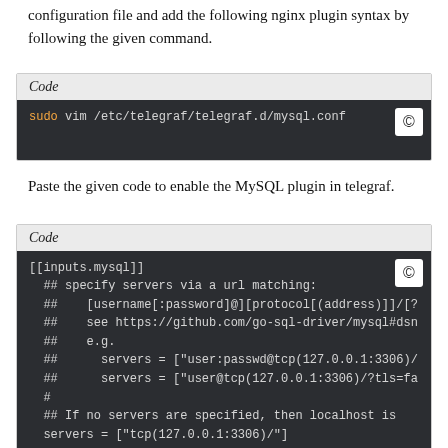configuration file and add the following nginx plugin syntax by following the given command.
Code
sudo vim /etc/telegraf/telegraf.d/mysql.conf
Paste the given code to enable the MySQL plugin in telegraf.
Code
[[inputs.mysql]]
  ## specify servers via a url matching:
  ##    [username[:password]@][protocol[(address)]]/[?
  ##    see https://github.com/go-sql-driver/mysql#dsn
  ##    e.g.
  ##      servers = ["user:passwd@tcp(127.0.0.1:3306)/
  ##      servers = ["user@tcp(127.0.0.1:3306)/?tls=fa
  #
  ## If no servers are specified, then localhost is
  servers = ["tcp(127.0.0.1:3306)/"]